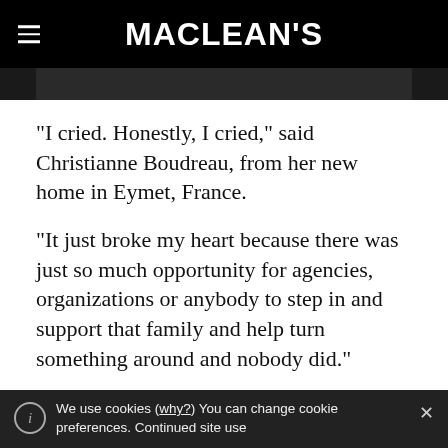MACLEAN'S
“I cried. Honestly, I cried,” said Christianne Boudreau, from her new home in Eymet, France.
“It just broke my heart because there was just so much opportunity for agencies, organizations or anybody to step in and support that family and help turn something around and nobody did.”
We use cookies (why?) You can change cookie preferences. Continued site use